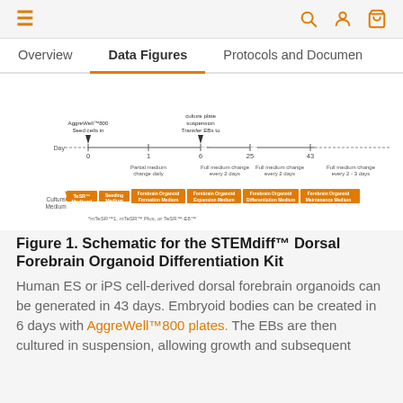≡   🔍 👤 🛒
Overview | Data Figures | Protocols and Documents
[Figure (schematic): Timeline schematic for STEMdiff Dorsal Forebrain Organoid Differentiation Kit showing days 0 to 43+, culture media stages (TeSR Medium, Seeding Medium, Forebrain Organoid Formation Medium, Forebrain Organoid Expansion Medium, Forebrain Organoid Differentiation Medium, Forebrain Organoid Maintenance Medium), with annotations for seeding cells in AggreWell 800, transferring EBs to suspension culture plate, and partial medium changes.]
Figure 1. Schematic for the STEMdiff™ Dorsal Forebrain Organoid Differentiation Kit
Human ES or iPS cell-derived dorsal forebrain organoids can be generated in 43 days. Embryoid bodies can be created in 6 days with AggreWell™800 plates. The EBs are then cultured in suspension, allowing growth and subsequent maturation into dorsal forebrain organoids.